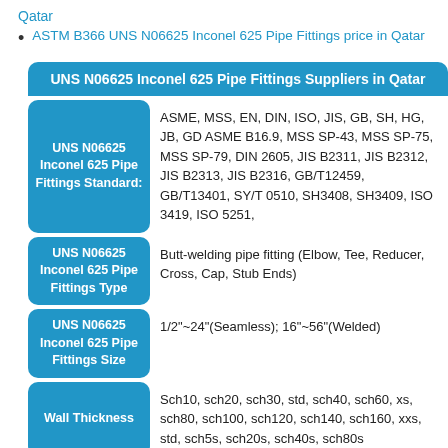Qatar
ASTM B366 UNS N06625 Inconel 625 Pipe Fittings price in Qatar
| UNS N06625 Inconel 625 Pipe Fittings Suppliers in Qatar |
| --- |
| UNS N06625 Inconel 625 Pipe Fittings Standard: | ASME, MSS, EN, DIN, ISO, JIS, GB, SH, HG, JB, GD ASME B16.9, MSS SP-43, MSS SP-75, MSS SP-79, DIN 2605, JIS B2311, JIS B2312, JIS B2313, JIS B2316, GB/T12459, GB/T13401, SY/T 0510, SH3408, SH3409, ISO 3419, ISO 5251, |
| UNS N06625 Inconel 625 Pipe Fittings Type | Butt-welding pipe fitting (Elbow, Tee, Reducer, Cross, Cap, Stub Ends) |
| UNS N06625 Inconel 625 Pipe Fittings Size | 1/2"~24"(Seamless); 16"~56"(Welded) |
| Wall Thickness | Sch10, sch20, sch30, std, sch40, sch60, xs, sch80, sch100, sch120, sch140, sch160, xxs, std, sch5s, sch20s, sch40s, sch80s |
| Manufacturing process | Push, Press, Forge, Cast, etc. |
|  | Our main clients are from Turkey, Italy, France, Spain, |